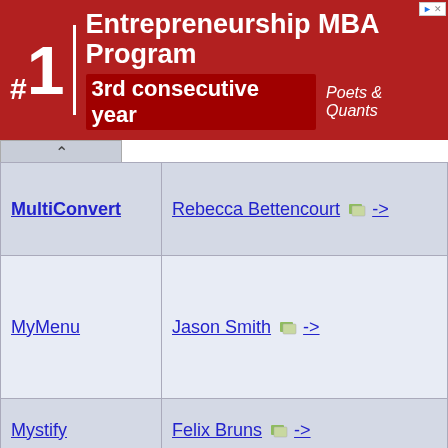[Figure (other): Advertisement banner: #1 Entrepreneurship MBA Program 3rd consecutive year - Poets & Quants]
| App/Project | Contact |
| --- | --- |
| MultiConvert | Rebecca Bettencourt -> |
| MyMenu | Jason Smith -> |
| Mystify | Felix Bruns -> |
| Noise | Courtney Cavin -> |
| Nose Pick | Terry Stenvold -> |
| Othello | Courtney Cavin -> |